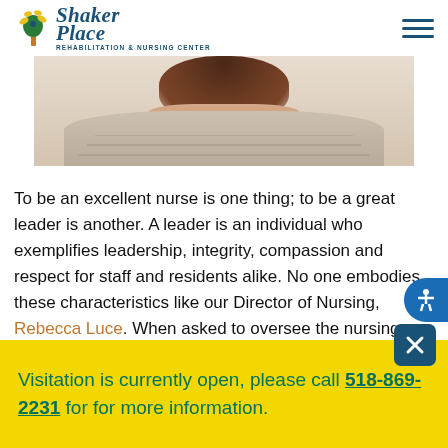Shaker Place Rehabilitation & Nursing Center
[Figure (photo): Close-up photo of a person wearing a light beige/gray knit sweater, showing their neck and lower face, with brown hair visible at top]
To be an excellent nurse is one thing; to be a great leader is another. A leader is an individual who exemplifies leadership, integrity, compassion and respect for staff and residents alike. No one embodies these characteristics like our Director of Nursing, Rebecca Luce. When asked to oversee the nursing department at Shaker Place, Re[becca was honored to] [to]tally [embrace the challenge and was] adm[ired by our entire staff. Rebecca was honored] to unify the nursing department with her openness,
Visitation is currently open, please call 518-869-2231 for for more information.